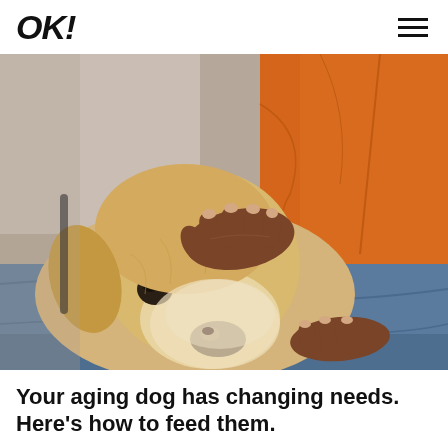OK!
[Figure (photo): A golden Labrador dog resting its head on the lap of a person wearing an orange shirt and blue jeans, with the person's dark-skinned hand gently placed on top of the dog's head.]
Your aging dog has changing needs. Here's how to feed them.
Hill's Pet